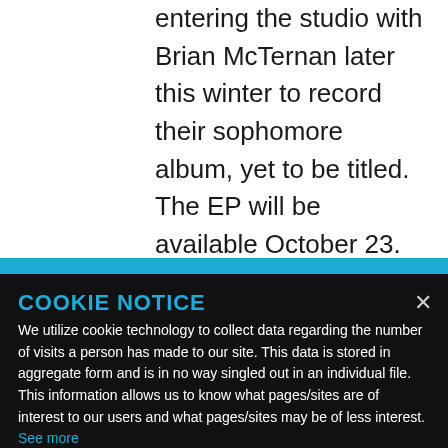entering the studio with Brian McTernan later this winter to record their sophomore album, yet to be titled. The EP will be available October 23.
COOKIE NOTICE
We utilize cookie technology to collect data regarding the number of visits a person has made to our site. This data is stored in aggregate form and is in no way singled out in an individual file. This information allows us to know what pages/sites are of interest to our users and what pages/sites may be of less interest. See more